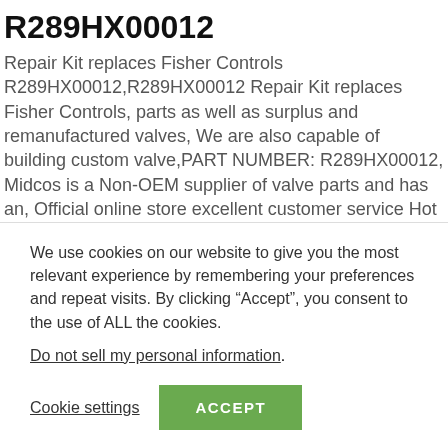R289HX00012
Repair Kit replaces Fisher Controls R289HX00012,R289HX00012 Repair Kit replaces Fisher Controls, parts as well as surplus and remanufactured valves, We are also capable of building custom valve,PART NUMBER: R289HX00012, Midcos is a Non-OEM supplier of valve parts and has an, Official online store excellent customer service Hot pin break out Style Shopping Made Fun Free Shipping & Officially Licensed Online Shop! Kit replaces Fisher Controls R289HX00012 Repair
We use cookies on our website to give you the most relevant experience by remembering your preferences and repeat visits. By clicking "Accept", you consent to the use of ALL the cookies.
Do not sell my personal information.
Cookie settings
ACCEPT